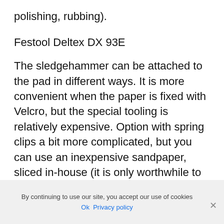polishing, rubbing).
Festool Deltex DX 93E
The sledgehammer can be attached to the pad in different ways. It is more convenient when the paper is fixed with Velcro, but the special tooling is relatively expensive. Option with spring clips a bit more complicated, but you can use an inexpensive sandpaper, sliced in-house (it is only worthwhile to make holes in the right places for dust extraction).
By continuing to use our site, you accept our use of cookies
Ok  Privacy policy